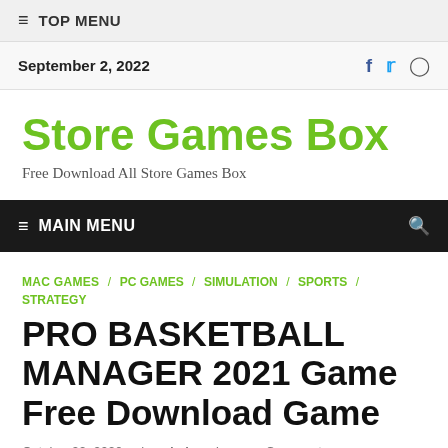≡ TOP MENU
September 2, 2022
Store Games Box
Free Download All Store Games Box
≡ MAIN MENU
MAC GAMES / PC GAMES / SIMULATION / SPORTS / STRATEGY
PRO BASKETBALL MANAGER 2021 Game Free Download Game
October 22, 2020  -  by admin  -  Leave a Comment